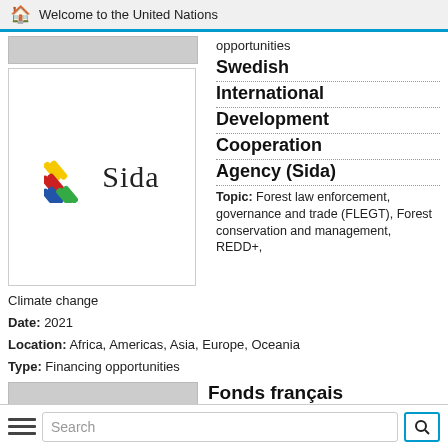Welcome to the United Nations
opportunities
[Figure (logo): Sida logo with colored stripes icon and 'Sida' text in serif font]
Swedish International Development Cooperation Agency (Sida)
Topic: Forest law enforcement, governance and trade (FLEGT), Forest conservation and management, REDD+,
Climate change
Date: 2021
Location: Africa, Americas, Asia, Europe, Oceania
Type: Financing opportunities
Fonds français pour